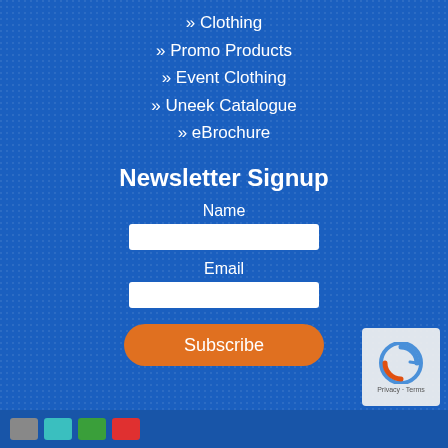» Clothing
» Promo Products
» Event Clothing
» Uneek Catalogue
» eBrochure
Newsletter Signup
Name
Email
Subscribe
[Figure (logo): reCAPTCHA logo with Privacy and Terms text]
Footer bar with colored icons